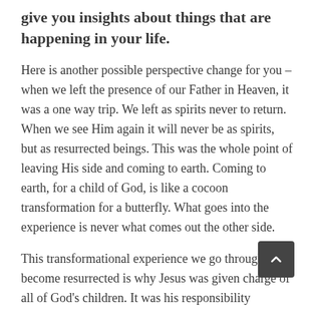give you insights about things that are happening in your life.
Here is another possible perspective change for you – when we left the presence of our Father in Heaven, it was a one way trip. We left as spirits never to return. When we see Him again it will never be as spirits, but as resurrected beings. This was the whole point of leaving His side and coming to earth. Coming to earth, for a child of God, is like a cocoon transformation for a butterfly. What goes into the experience is never what comes out the other side.
This transformational experience we go through to become resurrected is why Jesus was given charge of all of God's children. It was his responsibility